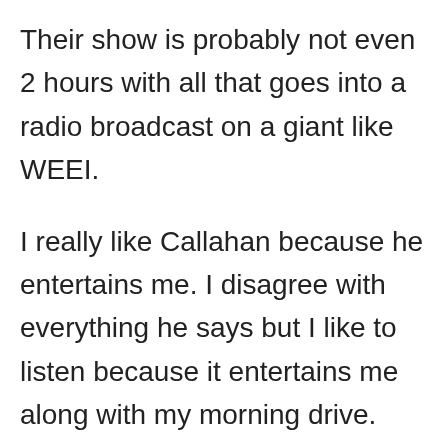Their show is probably not even 2 hours with all that goes into a radio broadcast on a giant like WEEI.
I really like Callahan because he entertains me. I disagree with everything he says but I like to listen because it entertains me along with my morning drive.
The biggest problem I have, as with many of you, is when they go on these political rants. Sometimes it's entertaining but other times it's I'm